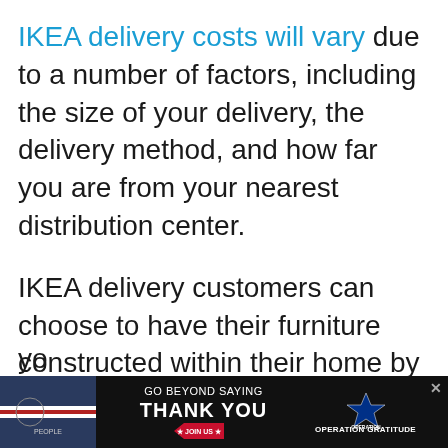IKEA delivery costs will vary due to a number of factors, including the size of your delivery, the delivery method, and how far you are from your nearest distribution center.

IKEA delivery customers can choose to have their furniture constructed within their home by specialized staff, the cost for this service generally starts at $36 to $450, with it costing more as you...
[Figure (other): Advertisement banner at the bottom: 'GO BEYOND SAYING THANK YOU' with Operation Gratitude logo and JOIN US button, dark background with patriotic imagery.]